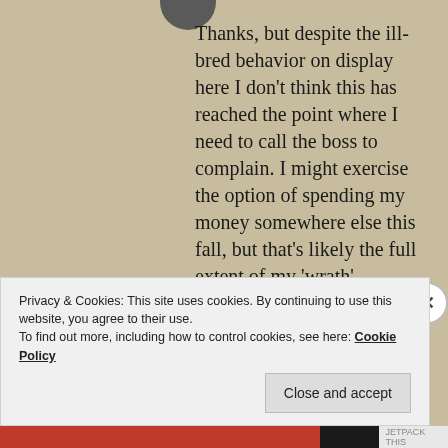Thanks, but despite the ill-bred behavior on display here I don't think this has reached the point where I need to call the boss to complain. I might exercise the option of spending my money somewhere else this fall, but that's likely the full extent of my 'wrath'.
Like
REPLY
Privacy & Cookies: This site uses cookies. By continuing to use this website, you agree to their use. To find out more, including how to control cookies, see here: Cookie Policy
Close and accept